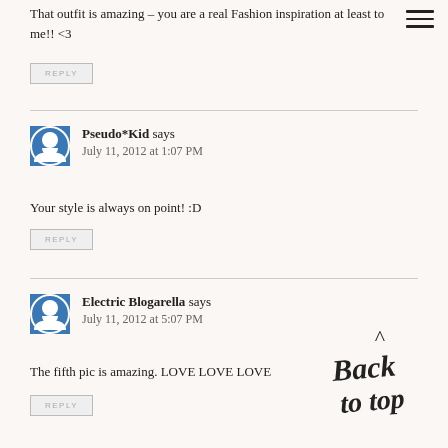[Figure (other): Hamburger menu icon with three horizontal lines, top right corner]
That outfit is amazing – you are a real Fashion inspiration at least to me!! <3
REPLY
Pseudo*Kid says
July 11, 2012 at 1:07 PM
Your style is always on point! :D
REPLY
Electric Blogarella says
July 11, 2012 at 5:07 PM
The fifth pic is amazing. LOVE LOVE LOVE
REPLY
[Figure (illustration): Handwritten cursive text reading 'Back to top' with a caret symbol above]